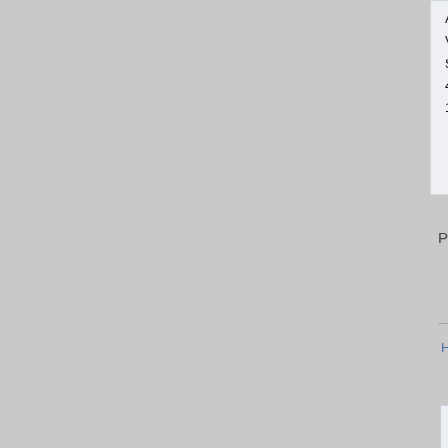Ast 30
Viral load 4
Started Ep
4 week vir
12 week e
Pages: 1 2 3 [4] 5   Go Up
Hepatitis Forums » Hepatitis C Main Forums » On
[Figure (screenshot): Input box / reply area]
SMF 2.0.15
[Figure (other): Advertisement banner: Hepatitis C. Who can you talk to about it? Talk with a re... Call now: 8...]